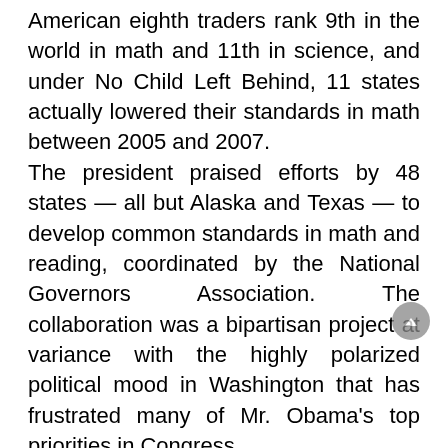American eighth traders rank 9th in the world in math and 11th in science, and under No Child Left Behind, 11 states actually lowered their standards in math between 2005 and 2007.
The president praised efforts by 48 states — all but Alaska and Texas — to develop common standards in math and reading, coordinated by the National Governors Association. The collaboration was a bipartisan project at variance with the highly polarized political mood in Washington that has frustrated many of Mr. Obama's top priorities in Congress.
“We’ve been tasked to not only see this country through difficult times, but to keep the dream of our founding alive for the next generation,” Mr. Obama told the governors. “That’s not something to shy away from. It’s something to live up to. And I intend to work closely with all of you — Democrats and Republicans — to do just that”